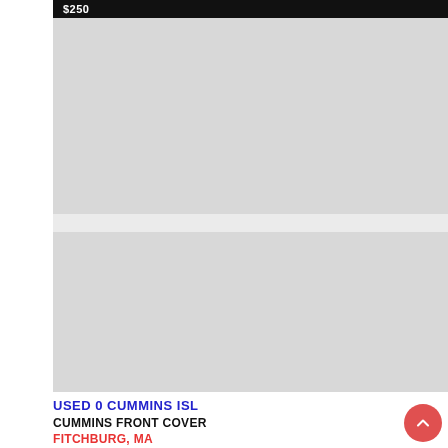$250
[Figure (photo): Top product image placeholder - grey rectangle]
[Figure (photo): Bottom product image placeholder - grey rectangle]
USED 0 CUMMINS ISL
CUMMINS FRONT COVER
FITCHBURG, MA